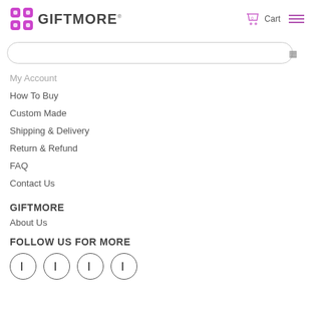GIFTMORE® Cart Menu
[Figure (screenshot): Search bar with rounded border and search icon]
My Account
How To Buy
Custom Made
Shipping & Delivery
Return & Refund
FAQ
Contact Us
GIFTMORE
About Us
FOLLOW US FOR MORE
[Figure (illustration): Four social media icon circles at bottom]